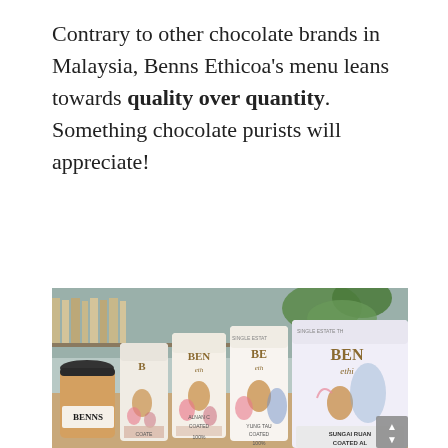Contrary to other chocolate brands in Malaysia, Benns Ethicoa's menu leans towards quality over quantity. Something chocolate purists will appreciate!
[Figure (photo): A photograph showing multiple Benns Ethicoa chocolate product pouches lined up on a counter, each with floral and almond illustrations. A coffee cup branded 'BENNS' is visible on the left. The pouches show text including 'YUNG TAU COATED', 'SUNGAI RUAN COATED AL', and '100%' labels. A bookshelf and plants are visible in the background.]